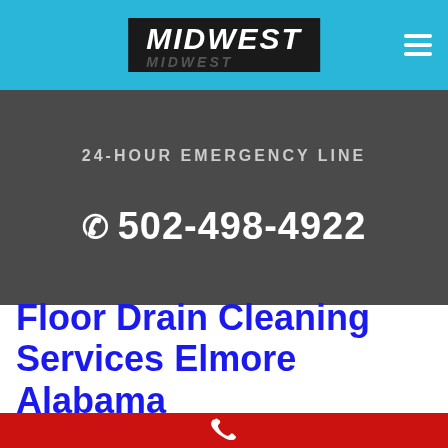[Figure (logo): Midwest logo in black box with italic white text on cyan header bar with hamburger menu icon on right]
24-HOUR EMERGENCY LINE
502-498-4922
Floor Drain Cleaning Services Elmore Alabama
[Figure (illustration): White phone handset icon on red background bar at bottom]